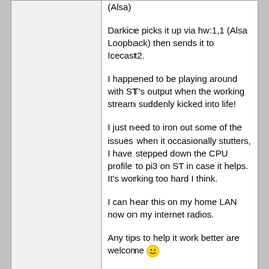(Alsa)

Darkice picks it up via hw:1,1 (Alsa Loopback) then sends it to Icecast2.

I happened to be playing around with ST's output when the working stream suddenly kicked into life!

I just need to iron out some of the issues when it occasionally stutters, I have stepped down the CPU profile to pi3 on ST in case it helps. It's working too hard I think.

I can hear this on my home LAN now on my internet radios.

Any tips to help it work better are welcome 😀
Top
profile
quote